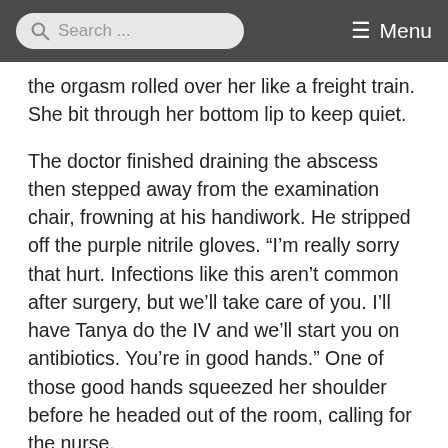Search ... Menu
the orgasm rolled over her like a freight train. She bit through her bottom lip to keep quiet.
The doctor finished draining the abscess then stepped away from the examination chair, frowning at his handiwork. He stripped off the purple nitrile gloves. “I’m really sorry that hurt. Infections like this aren’t common after surgery, but we’ll take care of you. I’ll have Tanya do the IV and we’ll start you on antibiotics. You’re in good hands.” One of those good hands squeezed her shoulder before he headed out of the room, calling for the nurse.
She floated in a pool of warm, luxuriant pus. Two